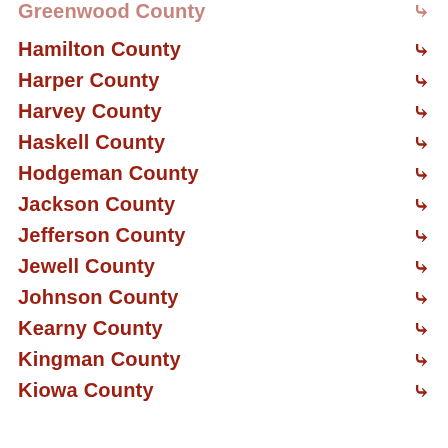Greenwood County
Hamilton County
Harper County
Harvey County
Haskell County
Hodgeman County
Jackson County
Jefferson County
Jewell County
Johnson County
Kearny County
Kingman County
Kiowa County